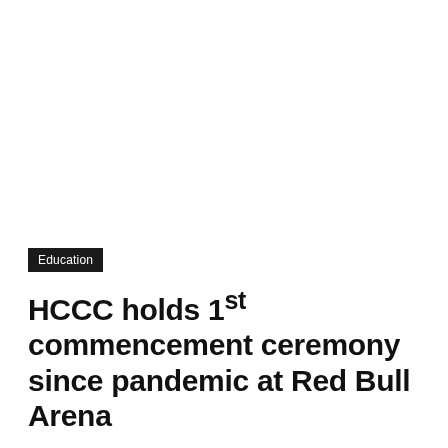Education
HCCC holds 1st commencement ceremony since pandemic at Red Bull Arena
John Heinis – May 26, 2022 3:53 pm